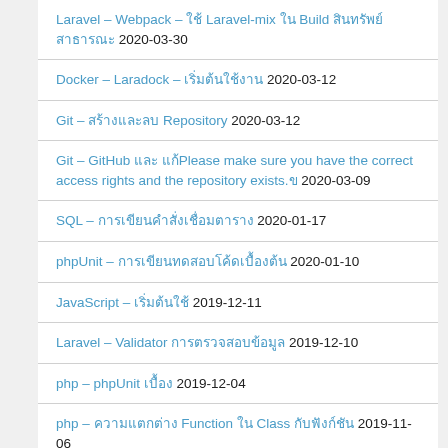Laravel – Webpack – ใช้ Laravel-mix ใน Build สินทรัพย์สาธารณะ 2020-03-30
Docker – Laradock – เริ่มต้นใช้งาน 2020-03-12
Git – สร้างและลบ Repository 2020-03-12
Git – GitHub และ แก้Please make sure you have the correct access rights and the repository exists.ข 2020-03-09
SQL – การเขียนคำสั่งเชื่อมตาราง 2020-01-17
phpUnit – การเขียนทดสอบโค้ดเบื้องต้น 2020-01-10
JavaScript – เริ่มต้นใช้ 2019-12-11
Laravel – Validator การตรวจสอบข้อมูล 2019-12-10
php – phpUnit เบื้อง 2019-12-04
php – ความแตกต่าง Function ใน Class กับฟังก์ชัน 2019-11-06
Laravel – ใช้ Carbon จัดการวันที่เวลา 2019-09-30